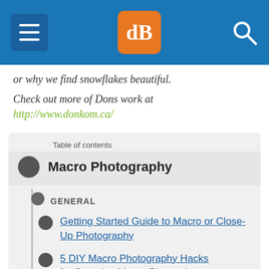dPS navigation header
or why we find snowflakes beautiful.
Check out more of Dons work at
http://www.donkom.ca/
Table of contents
Macro Photography
GENERAL
Getting Started Guide to Macro or Close-Up Photography
5 DIY Macro Photography Hacks for Stunning Macro Photos (on a Budget)